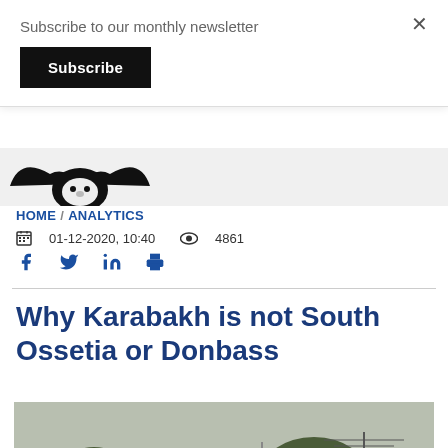Subscribe to our monthly newsletter
Subscribe
HOME / ANALYTICS
01-12-2020, 10:40  4861
Why Karabakh is not South Ossetia or Donbass
[Figure (photo): A road sign in Armenian and English showing directions to Goris (90), Shushi (8), and Karmir Shouka (35), with a Russian flag visible in the misty background among trees.]